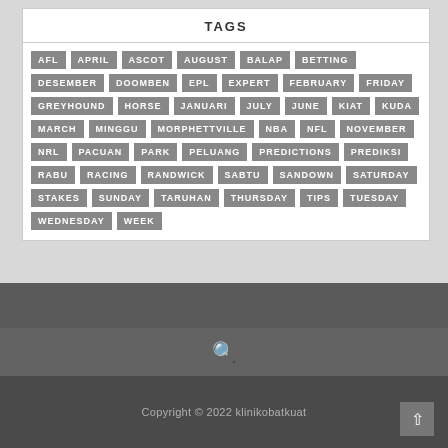TAGS
AFL, APRIL, ASCOT, AUGUST, BALAP, BETTING, DESEMBER, DOOMBEN, EPL, EXPERT, FEBRUARY, FRIDAY, GREYHOUND, HORSE, JANUARI, JULY, JUNE, KIAT, KUDA, MARCH, MINGGU, MORPHETTVILLE, NBA, NFL, NOVEMBER, NRL, PACUAN, PARK, PELUANG, PREDICTIONS, PREDIKSI, RABU, RACING, RANDWICK, SABTU, SANDOWN, SATURDAY, STAKES, SUNDAY, TARUHAN, THURSDAY, TIPS, TUESDAY, WEDNESDAY, WEEK
Copyright © 2022 klinikobatkuat